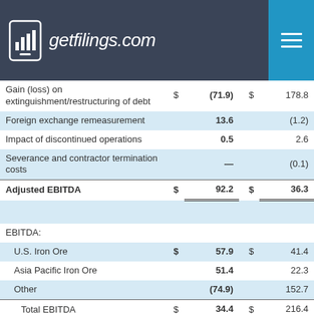getfilings.com
|  | $ |  | $ |  |
| --- | --- | --- | --- | --- |
| Gain (loss) on extinguishment/restructuring of debt | $ | (71.9) | $ | 178.8 |
| Foreign exchange remeasurement |  | 13.6 |  | (1.2) |
| Impact of discontinued operations |  | 0.5 |  | 2.6 |
| Severance and contractor termination costs |  | — |  | (0.1) |
| Adjusted EBITDA | $ | 92.2 | $ | 36.3 |
|  |  |  |  |  |
| EBITDA: |  |  |  |  |
| U.S. Iron Ore | $ | 57.9 | $ | 41.4 |
| Asia Pacific Iron Ore |  | 51.4 |  | 22.3 |
| Other |  | (74.9) |  | 152.7 |
| Total EBITDA | $ | 34.4 | $ | 216.4 |